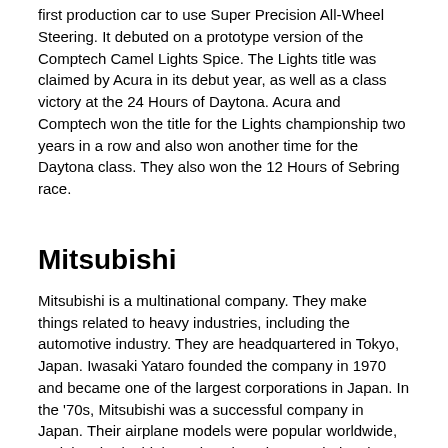first production car to use Super Precision All-Wheel Steering. It debuted on a prototype version of the Comptech Camel Lights Spice. The Lights title was claimed by Acura in its debut year, as well as a class victory at the 24 Hours of Daytona. Acura and Comptech won the title for the Lights championship two years in a row and also won another time for the Daytona class. They also won the 12 Hours of Sebring race.
Mitsubishi
Mitsubishi is a multinational company. They make things related to heavy industries, including the automotive industry. They are headquartered in Tokyo, Japan. Iwasaki Yataro founded the company in 1970 and became one of the largest corporations in Japan. In the '70s, Mitsubishi was a successful company in Japan. Their airplane models were popular worldwide, and they had a high market share in some industries.